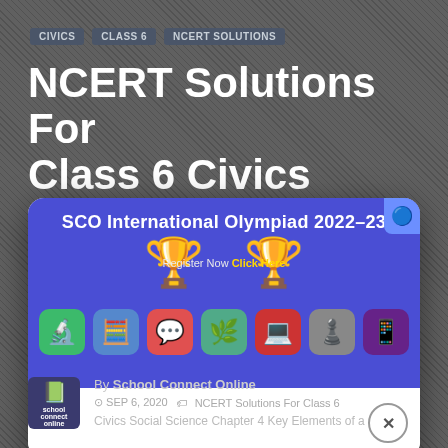CIVICS | CLASS 6 | NCERT SOLUTIONS
NCERT Solutions For Class 6 Civics Social Science Chapter 4 Key Elements of a Democratic Government
[Figure (screenshot): Popup modal for SCO International Olympiad 2022-23 with trophy icons, subject icons, and a close button. Blue background with white bottom section.]
By School Connect Online
SEP 6, 2020  NCERT Solutions For Class 6 Civics Social Science Chapter 4 Key Elements of a